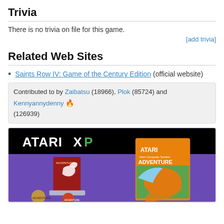Trivia
There is no trivia on file for this game.
[add trivia]
Related Web Sites
Saints Row IV: Game of the Century Edition (official website)
Contributed to by Zaibatsu (18966), Plok (85724) and Kennyannydenny 🔥 (126939)
[Figure (photo): Atari XP Adventure game box and merchandise photo showing Atari XP logo, Adventure game box, red game cartridge display stand, and accessories on a purple background]